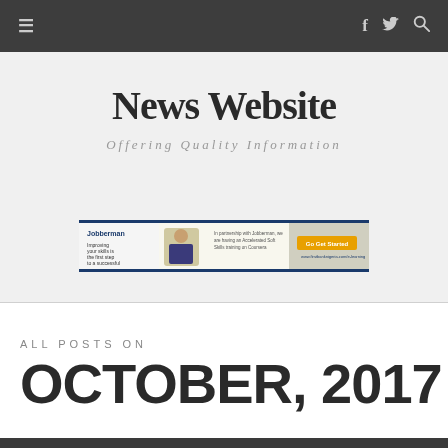≡  f  🐦  🔍
News Website
Offering Quality Information
[Figure (other): Advertisement banner for Jobberman online training course on Coursera]
ALL POSTS ON
OCTOBER, 2017